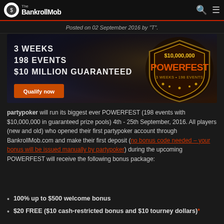The BankrollMob
Posted on 02 September 2016 by "T".
[Figure (illustration): Powerfest promotional banner: dark background with '3 WEEKS', '198 EVENTS', '$10 MILLION GUARANTEED' text on left, Powerfest $10,000,000 badge on right, and a 'Qualify now' orange button at bottom left.]
partypoker will run its biggest ever POWERFEST (198 events with $10,000,000 in guaranteed prize pools) 4th - 25th September, 2016. All players (new and old) who opened their first partypoker account through BankrollMob.com and make their first deposit (no bonus code needed – your bonus will be issued manually by partypoker) during the upcoming POWERFEST will receive the following bonus package:
100% up to $500 welcome bonus
$20 FREE ($10 cash-restricted bonus and $10 tourney dollars)*